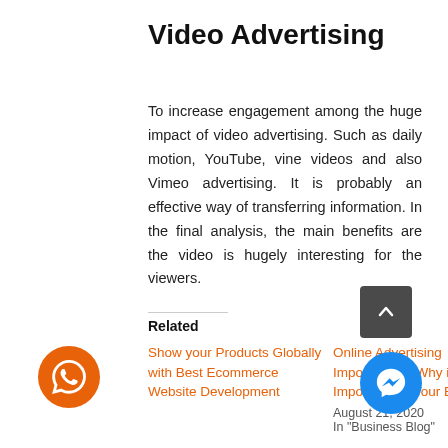Video Advertising
To increase engagement among the huge impact of video advertising. Such as daily motion, YouTube, vine videos and also Vimeo advertising. It is probably an effective way of transferring information. In the final analysis, the main benefits are the video is hugely interesting for the viewers.
Related
Show your Products Globally with Best Ecommerce Website Development
Online Advertising Importance – Why is it Important for Your Business?
August 21, 2020
In "Business Blog"